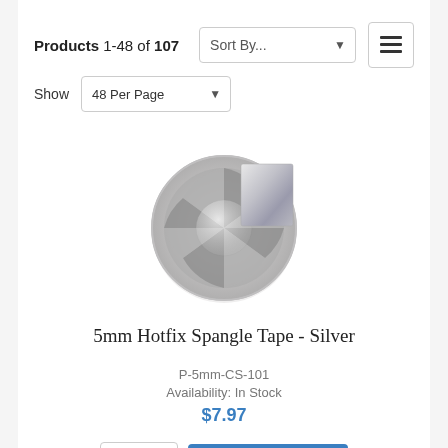Products 1-48 of 107
Sort By...
Show  48 Per Page
[Figure (photo): A silver reel/spool of 5mm hotfix spangle tape, showing metallic foil on a plastic reel with a rectangular tab of silver foil visible at the top.]
5mm Hotfix Spangle Tape - Silver
P-5mm-CS-101
Availability: In Stock
$7.97
Add to Cart